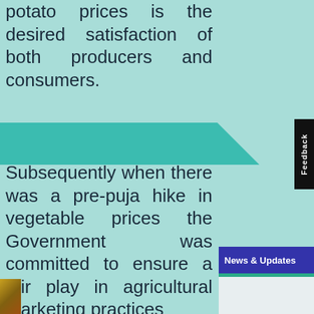potato prices is the desired satisfaction of both producers and consumers. Subsequently when there was a pre-puja hike in vegetable prices the Government was committed to ensure a fair play in agricultural marketing practices
News & Updates